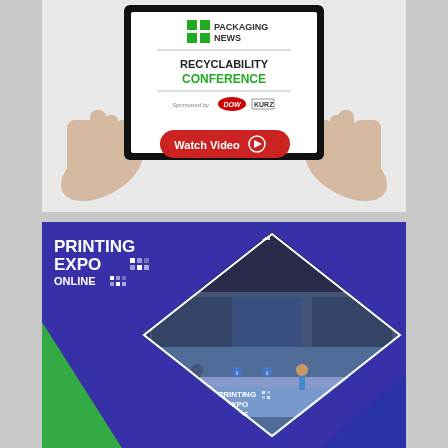[Figure (photo): Advertisement for Packaging News Recyclability Conference. Shows hands holding a tablet displaying the conference details. A red 'Watch Video' button with play icon is shown. Sponsored by Dow and Kurz.]
[Figure (photo): Advertisement for Printing Expo Online. Shows a virtual expo hall with booths, a reception desk, and a woman in blue shirt. The Printing Expo Online logo appears in top-left and again overlaid on the hall image. Green and blue color scheme with a diamond-shaped photo cutout.]